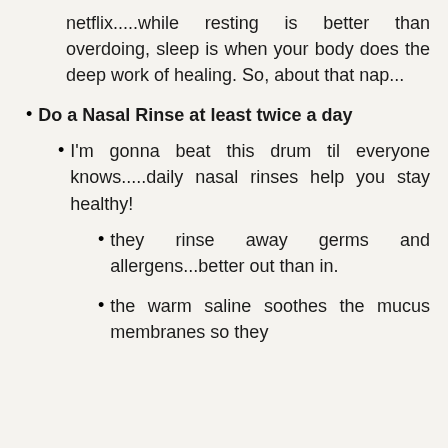netflix.....while resting is better than overdoing, sleep is when your body does the deep work of healing. So, about that nap...
Do a Nasal Rinse at least twice a day
I'm gonna beat this drum til everyone knows.....daily nasal rinses help you stay healthy!
they rinse away germs and allergens...better out than in.
the warm saline soothes the mucus membranes so they